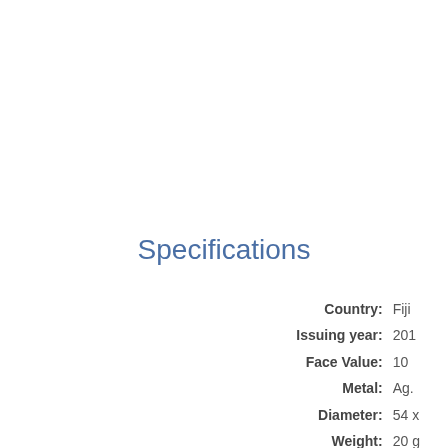Specifications
| Field | Value |
| --- | --- |
| Country: | Fiji |
| Issuing year: | 201 |
| Face Value: | 10 |
| Metal: | Ag. |
| Diameter: | 54 x |
| Weight: | 20 g |
| Condition: | Sat |
| Mintage: | 1,0 |
| Special: | 5C |
|  | gol |